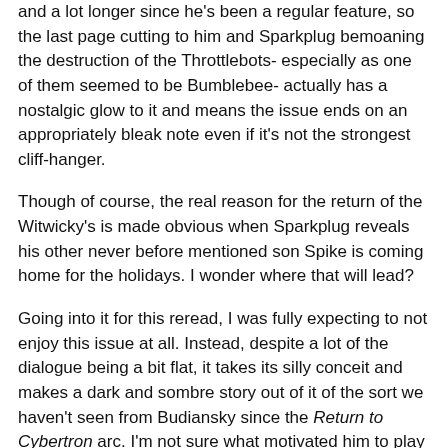and a lot longer since he's been a regular feature, so the last page cutting to him and Sparkplug bemoaning the destruction of the Throttlebots- especially as one of them seemed to be Bumblebee- actually has a nostalgic glow to it and means the issue ends on an appropriately bleak note even if it's not the strongest cliff-hanger.
Though of course, the real reason for the return of the Witwicky's is made obvious when Sparkplug reveals his other never before mentioned son Spike is coming home for the holidays. I wonder where that will lead?
Going into it for this reread, I was fully expecting to not enjoy this issue at all. Instead, despite a lot of the dialogue being a bit flat, it takes its silly conceit and makes a dark and sombre story out of it of the sort we haven't seen from Budiansky since the Return to Cybertron arc. I'm not sure what motivated him to play such an obvious gag story so straight, but it works very well indeed.